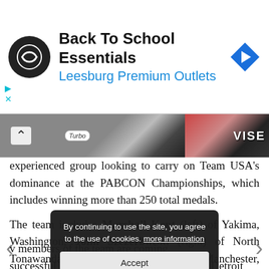[Figure (screenshot): Advertisement banner for 'Back To School Essentials' at Leesburg Premium Outlets with logo and navigation arrow icon]
[Figure (photo): Partial image strip showing bowling-related images with Turbo and VISE brand logos]
experienced group looking to carry on Team USA's dominance at the PABCON Championships, which includes winning more than 250 total medals.
The team includes Marshall Kent (left) of Yakima, Washington, John Szczerbinski (right) of North Tonawanda, New York, AJ Chapman of Manchester, Iowa, Rob Gotchall of Clarksville, Tennessee, and longtime Team USA member Sean Rash of Montgo…
By continuing to use the site, you agree to the use of cookies. more information
Accept
v members of the team are coming successful run at the PBA Fall Swing in the Detroit